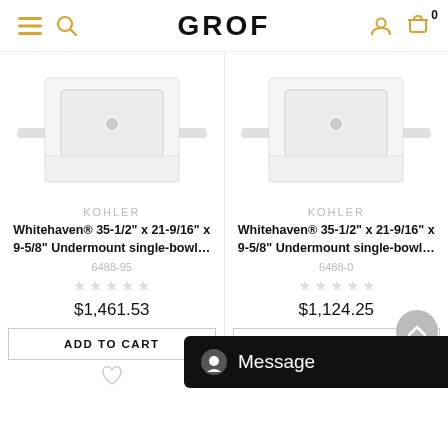GROF — navigation header with menu, search, account, and cart icons
[Figure (photo): White Kohler Whitehaven undermount single-bowl farmhouse sink, perspective view]
KOHLER
Whitehaven® 35-1/2" x 21-9/16" x 9-5/8" Undermount single-bowl...
6488-95
$1,461.53
ADD TO CART
[Figure (photo): White Kohler Whitehaven undermount single-bowl farmhouse sink, perspective view]
KOHLER
Whitehaven® 35-1/2" x 21-9/16" x 9-5/8" Undermount single-bowl...
6488-0
$1,124.25
ADD TO CART
Message